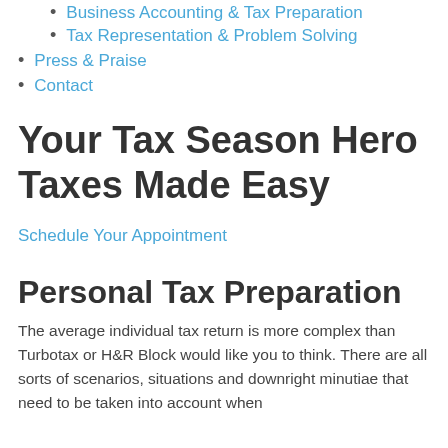Business Accounting & Tax Preparation
Tax Representation & Problem Solving
Press & Praise
Contact
Your Tax Season Hero Taxes Made Easy
Schedule Your Appointment
Personal Tax Preparation
The average individual tax return is more complex than Turbotax or H&R Block would like you to think. There are all sorts of scenarios, situations and downright minutiae that need to be taken into account when